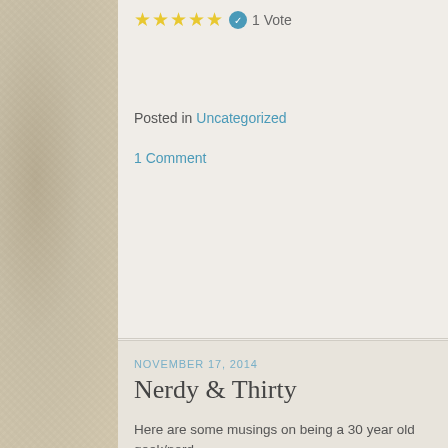★★★★★ 1 Vote
Posted in Uncategorized
1 Comment
NOVEMBER 17, 2014
Nerdy & Thirty
Here are some musings on being a 30 year old geek/nerd…
[Figure (illustration): Blue card with cartoon robot. Text reads: 'You Know You're a Geek When… You write a blog about being a geek.']